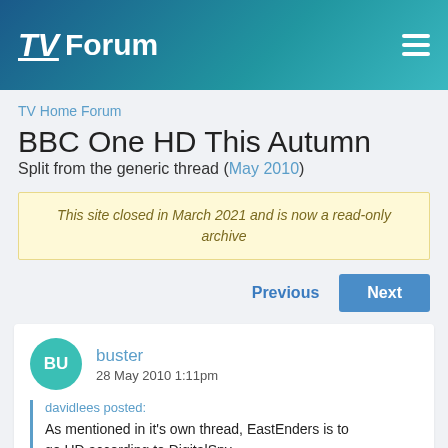TV Forum
TV Home Forum
BBC One HD This Autumn
Split from the generic thread (May 2010)
This site closed in March 2021 and is now a read-only archive
Previous  Next
buster
28 May 2010 1:11pm
davidlees posted:
As mentioned in it's own thread, EastEnders is to go HD according to DigitalSpy...
http://www.digitalspy.co.uk/broadcasting/s2/eastenders/new